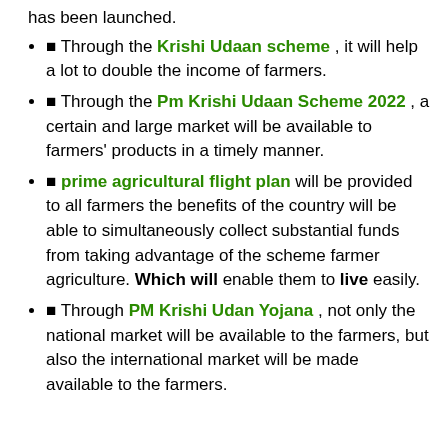has been launched.
🞄 Through the Krishi Udaan scheme , it will help a lot to double the income of farmers.
🞄 Through the Pm Krishi Udaan Scheme 2022 , a certain and large market will be available to farmers' products in a timely manner.
🞄 prime agricultural flight plan will be provided to all farmers the benefits of the country will be able to simultaneously collect substantial funds from taking advantage of the scheme farmer agriculture. Which will enable them to live easily.
🞄 Through PM Krishi Udan Yojana , not only the national market will be available to the farmers, but also the international market will be made available to the farmers.